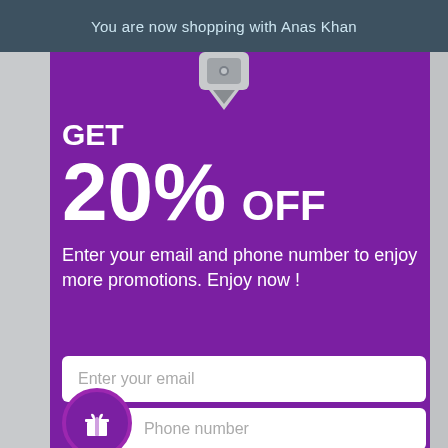You are now shopping with Anas Khan
GET 20% OFF
Enter your email and phone number to enjoy more promotions. Enjoy now !
Enter your email
Phone number